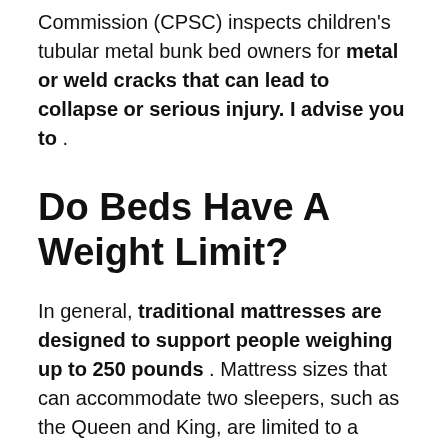Commission (CPSC) inspects children's tubular metal bunk bed owners for metal or weld cracks that can lead to collapse or serious injury. I advise you to .
Do Beds Have A Weight Limit?
In general, traditional mattresses are designed to support people weighing up to 250 pounds . Mattress sizes that can accommodate two sleepers, such as the Queen and King, are limited to a maximum of 250 pounds per side of the bed, or a total